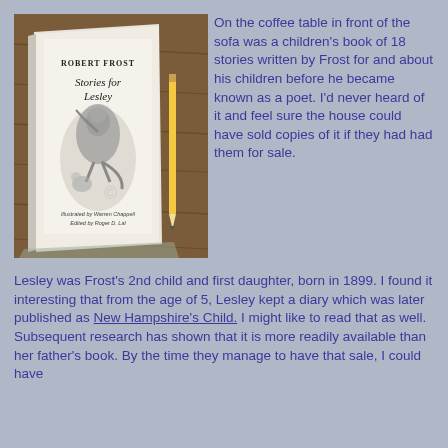[Figure (photo): Photo of a book titled 'Stories for Lesley' by Robert Frost, illustrated by Warren Chappell, edited by Roger D. Lal, lying on a wooden table next to a pencil.]
On the coffee table in front of the sofa was a children's book of 18 stories written by Frost for and about his children before he became known as a poet.  I'd never heard of it and feel sure the house could have sold copies of it if they had had them for sale.
Lesley was Frost's 2nd child and first daughter, born in 1899.   I found it interesting that from the age of 5, Lesley kept a diary which was later published as New Hampshire's Child.  I might like to read that as well. Subsequent research has shown that it is more readily available than her father's book. By the time they manage to have that sale, I could have